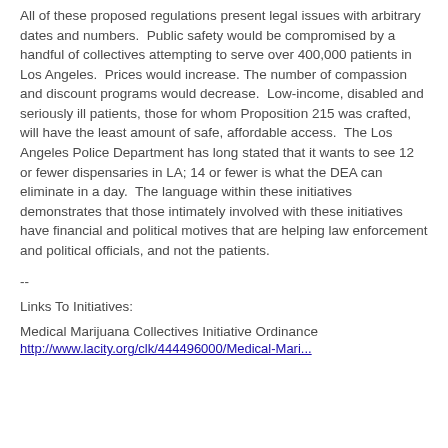All of these proposed regulations present legal issues with arbitrary dates and numbers.  Public safety would be compromised by a handful of collectives attempting to serve over 400,000 patients in Los Angeles.  Prices would increase. The number of compassion and discount programs would decrease.  Low-income, disabled and seriously ill patients, those for whom Proposition 215 was crafted, will have the least amount of safe, affordable access.  The Los Angeles Police Department has long stated that it wants to see 12 or fewer dispensaries in LA; 14 or fewer is what the DEA can eliminate in a day.  The language within these initiatives demonstrates that those intimately involved with these initiatives have financial and political motives that are helping law enforcement and political officials, and not the patients.
--
Links To Initiatives:
Medical Marijuana Collectives Initiative Ordinance
http://www.lacity.org/clk/444496000/Medical-Mari...